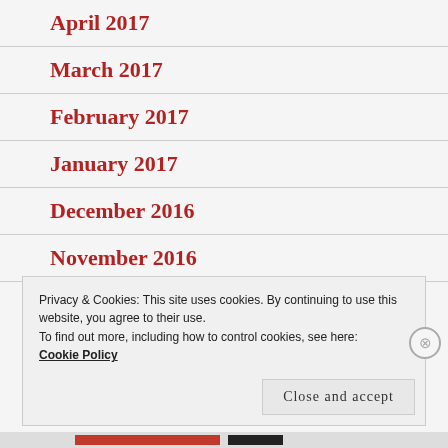April 2017
March 2017
February 2017
January 2017
December 2016
November 2016
Privacy & Cookies: This site uses cookies. By continuing to use this website, you agree to their use.
To find out more, including how to control cookies, see here:
Cookie Policy
Close and accept